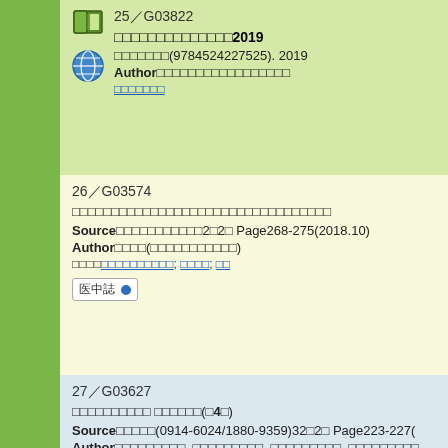25《G03822
　　　　　　　2019
Author
26《G03574
Source　　　　　2　2　 Page268-275(2018.10)
Author　　　(　　　　　　　　)
　　　　　　　　　　; 　　　;
27《G03627
　　　　　　　　　 　　　　　(　4刀)
Source　　　　(0914-6024/1880-9359)32　2　 Page223-227
Author　　　　　　　　, 　　　　　　　　, 　　　　　　　　, 　　　　　　　　, 　　　　　　　　　　　　　　
　　　　　　;